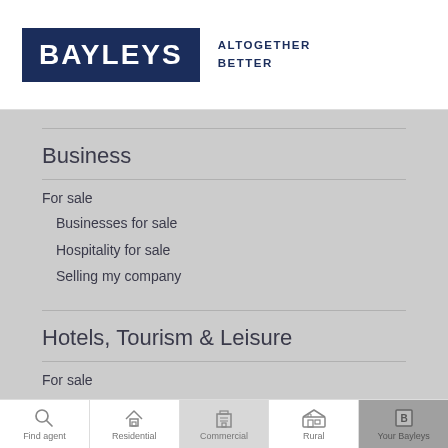BAYLEYS ALTOGETHER BETTER
Business
For sale
Businesses for sale
Hospitality for sale
Selling my company
Hotels, Tourism & Leisure
For sale
Find agent | Residential | Commercial | Rural | Your Bayleys